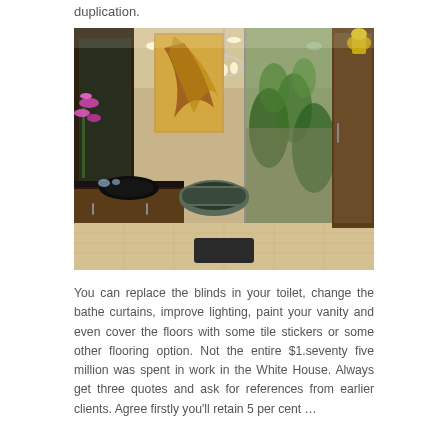duplication.
[Figure (photo): Luxury bathroom interior with dark wood cabinetry, black stone countertops, orchid flowers, a freestanding bathtub, chandelier lighting, and large glass doors opening to a lush garden with tropical plants.]
You can replace the blinds in your toilet, change the bathe curtains, improve lighting, paint your vanity and even cover the floors with some tile stickers or some other flooring option. Not the entire $1.seventy five million was spent in work in the White House. Always get three quotes and ask for references from earlier clients. Agree firstly you'll retain 5 per cent …